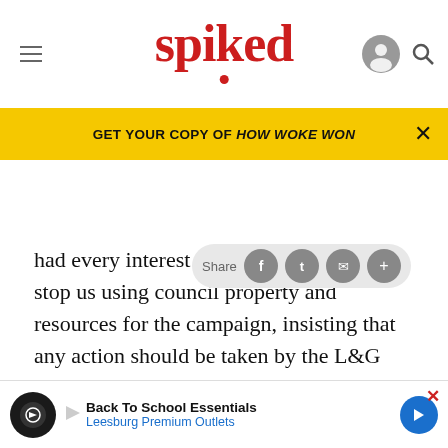spiked
GET YOUR COPY OF HOW WOKE WON
had every interest in opposing t tried to stop us using council property and resources for the campaign, insisting that any action should be taken by the L&G unit.
[Figure (screenshot): Grey advertisement placeholder box]
We organised a day of action in which we wanted to
ABOUT
[Figure (screenshot): Back To School Essentials - Leesburg Premium Outlets advertisement banner]